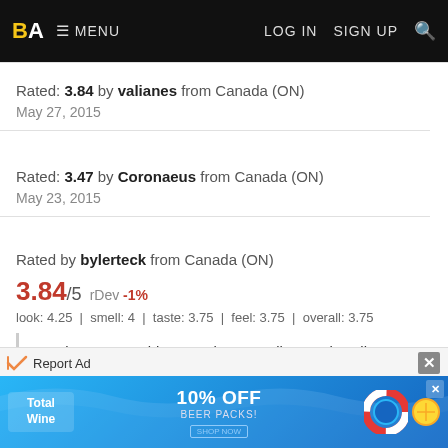BA MENU | LOG IN | SIGN UP | Search
Rated: 3.84 by valianes from Canada (ON)
May 27, 2015
Rated: 3.47 by Coronaeus from Canada (ON)
May 23, 2015
Rated by bylerteck from Canada (ON)
3.84/5 rDev -1%
look: 4.25 | smell: 4 | taste: 3.75 | feel: 3.75 | overall: 3.75
Booziness was a bit strong but overall a good, well put together DIPA.
May 12, 2015
[Figure (screenshot): Total Wine advertisement banner with 10% OFF BEER PACKS promotion and a lifesaver ring graphic over a blue water pool background]